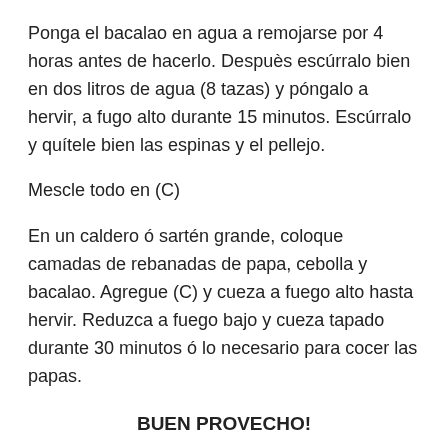Ponga el bacalao en agua a remojarse por 4 horas antes de hacerlo. Despuès escúrralo bien en dos litros de agua (8 tazas) y póngalo a hervir, a fugo alto durante 15 minutos. Escúrralo y quítele bien las espinas y el pellejo.
Mescle todo en (C)
En un caldero ó sartén grande, coloque camadas de rebanadas de papa, cebolla y bacalao. Agregue (C) y cueza a fuego alto hasta hervir. Reduzca a fuego bajo y cueza tapado durante 30 minutos ó lo necesario para cocer las papas.
BUEN PROVECHO!
Share this: